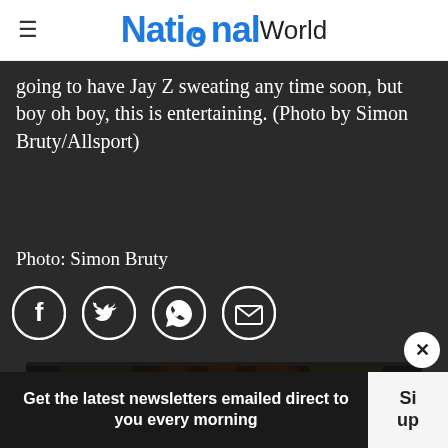NationalWorld
going to have Jay Z sweating any time soon, but boy oh boy, this is entertaining. (Photo by Simon Bruty/Allsport)
Photo: Simon Bruty
[Figure (other): Social sharing icons: Facebook, Twitter, WhatsApp, Email]
[Figure (photo): Close-up photograph of a person with dreadlocks]
Get the latest newsletters emailed direct to you every morning